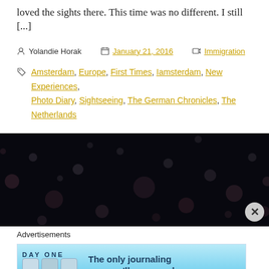loved the sights there. This time was no different. I still [...]
Yolandie Horak   January 21, 2016   Immigration
Amsterdam, Europe, First Times, Iamsterdam, New Experiences, Photo Diary, Sightseeing, The German Chronicles, The Netherlands
[Figure (photo): Dark bokeh background photo with scattered colorful light orbs on a near-black background]
Advertisements
[Figure (screenshot): DAY ONE journaling app advertisement banner with blue gradient background, app icons, and tagline 'The only journaling app you'll ever need.']